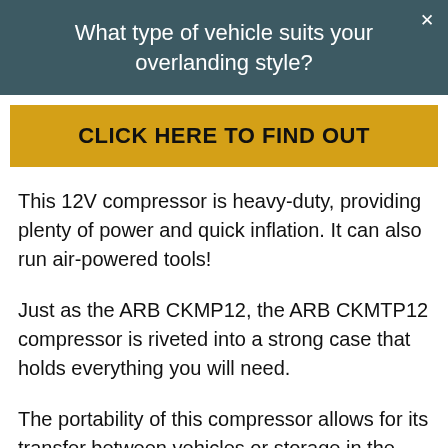What type of vehicle suits your overlanding style?
CLICK HERE TO FIND OUT
This 12V compressor is heavy-duty, providing plenty of power and quick inflation. It can also run air-powered tools!
Just as the ARB CKMP12, the ARB CKMTP12 compressor is riveted into a strong case that holds everything you will need.
The portability of this compressor allows for its transfer between vehicles or storage in the garage. Let's take a closer look at the features